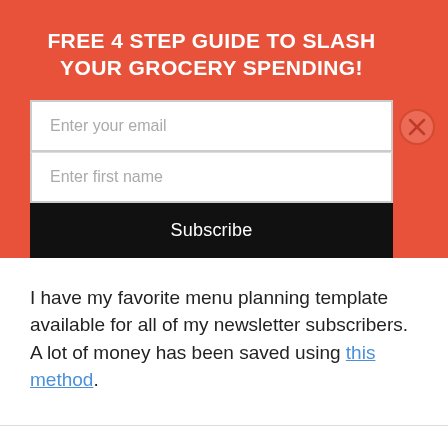FREE 4 STEP GUIDE TO SLASH YOUR GROCERY SPENDING!
[Figure (screenshot): Email subscription form with fields for email and first name, a Subscribe button, and a close (X) button on top-right]
I have my favorite menu planning template available for all of my newsletter subscribers. A lot of money has been saved using this method.